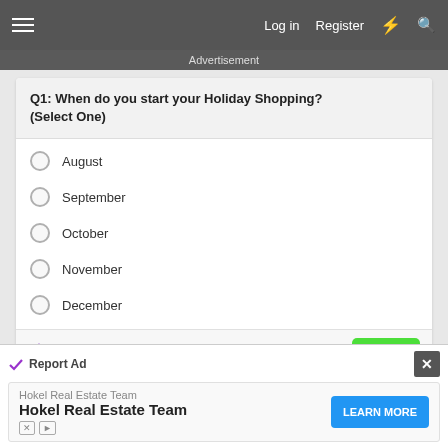Log in  Register
Advertisement
Q1: When do you start your Holiday Shopping? (Select One)
August
September
October
November
December
ZETA  1 of 4  Next
Report Ad
Report Ad
Hokel Real Estate Team
Hokel Real Estate Team
LEARN MORE